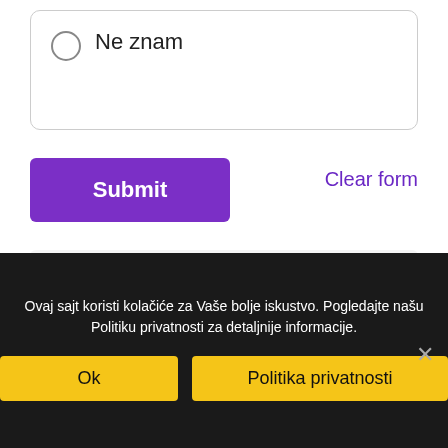Ne znam
Submit
Clear form
This content is neither created
Ovaj sajt koristi kolačiće za Vaše bolje iskustvo. Pogledajte našu Politiku privatnosti za detaljnije informacije.
Ok
Politika privatnosti